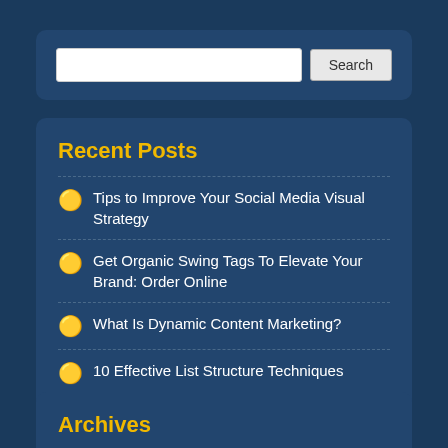Search
Recent Posts
Tips to Improve Your Social Media Visual Strategy
Get Organic Swing Tags To Elevate Your Brand: Order Online
What Is Dynamic Content Marketing?
10 Effective List Structure Techniques
5 Reasons Why Digital Marketing Is Essential for Any Business
Archives